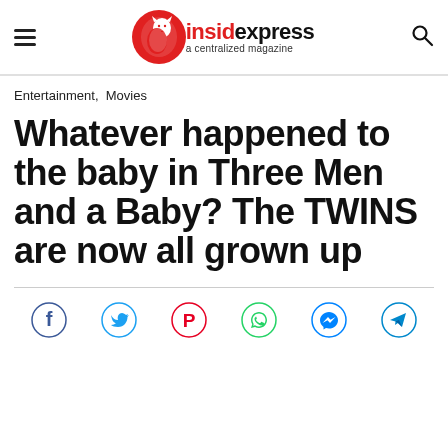insidexpress a centralized magazine
Entertainment,  Movies
Whatever happened to the baby in Three Men and a Baby? The TWINS are now all grown up
[Figure (infographic): Social media share icons: Facebook, Twitter, Pinterest, WhatsApp, Messenger, Telegram]